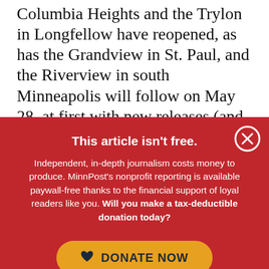Columbia Heights and the Trylon in Longfellow have reopened, as has the Grandview in St. Paul, and the Riverview in south Minneapolis will follow on May 28, at first with new releases (and higher ticket prices). The Highland in St. Paul is now open seven days a week.
This article isn't free.
Independent, in-depth journalism costs money to produce. MinnPost's nonprofit reporting is available paywall-free thanks to the financial support of loyal readers like you. Will you make a tax-deductible donation today?
[Figure (other): Close button (X in circle) on red background, top right corner of the red banner]
[Figure (other): DONATE NOW button with heart icon, golden/orange rounded rectangle button]